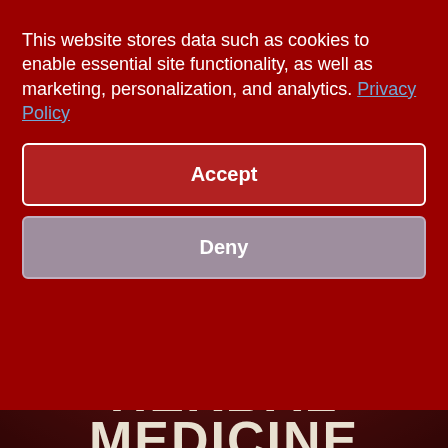This website stores data such as cookies to enable essential site functionality, as well as marketing, personalization, and analytics. Privacy Policy
Accept
Deny
[Figure (illustration): Book cover for 'Psoriasis with Chinese Herbal Medicine' with dark red textured background. Large gold text reads PSORIASIS at top, followed by italic 'with', then large white text reading CHINESE HERBAL MEDICINE.]